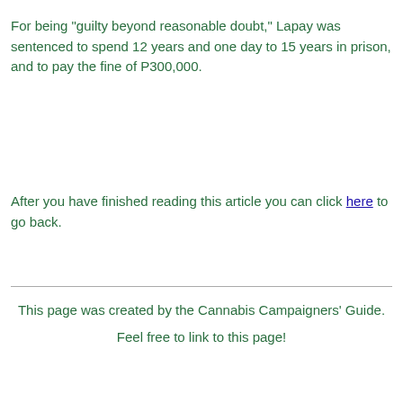For being "guilty beyond reasonable doubt," Lapay was sentenced to spend 12 years and one day to 15 years in prison, and to pay the fine of P300,000.
After you have finished reading this article you can click here to go back.
This page was created by the Cannabis Campaigners' Guide.
Feel free to link to this page!